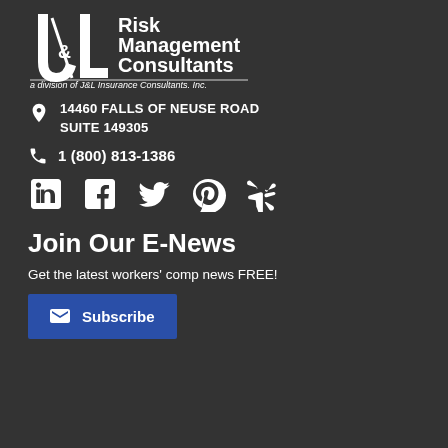[Figure (logo): J&L Risk Management Consultants logo — stylized J&L letters with 'Risk Management Consultants' text and 'a division of J&L Insurance Consultants, Inc.' subtitle]
14460 FALLS OF NEUSE ROAD
SUITE 149305
1 (800) 813-1386
[Figure (other): Social media icons: LinkedIn, Facebook, Twitter, Pinterest, Yelp]
Join Our E-News
Get the latest workers' comp news FREE!
Subscribe